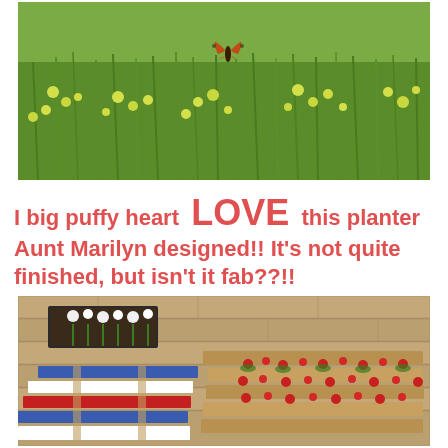[Figure (photo): Outdoor garden scene with tall green grass and small yellow wildflowers; an orange butterfly is visible near the top center of the image.]
I big puffy heart LOVE this planter Aunt Marilyn designed!! It's not quite finished, but isn't it fab??!!
[Figure (photo): A wooden pallet planter painted in red, white, and blue stripes with red flowers planted in the rows, sitting against a stone or brick wall backdrop with additional potted plants.]